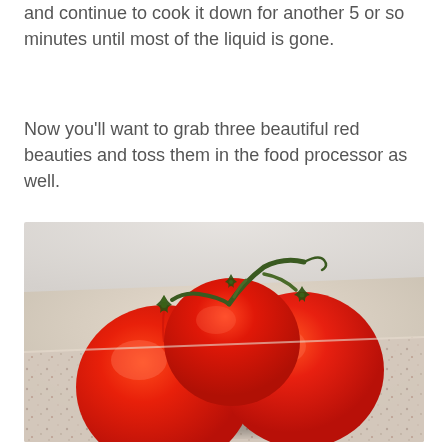and continue to cook it down for another 5 or so minutes until most of the liquid is gone.
Now you'll want to grab three beautiful red beauties and toss them in the food processor as well.
[Figure (photo): Three ripe red tomatoes on the vine resting on a granite countertop, with a blurred light background.]